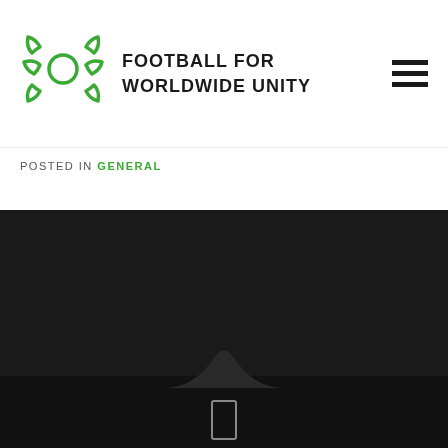FOOTBALL FOR WORLDWIDE UNITY
POSTED IN GENERAL
STAY TUNED
[Figure (other): Two social media icon rectangles (white outlined boxes) on dark background]
[Figure (other): Bottom footer icon - white outlined rectangle on dark band with wave shape]